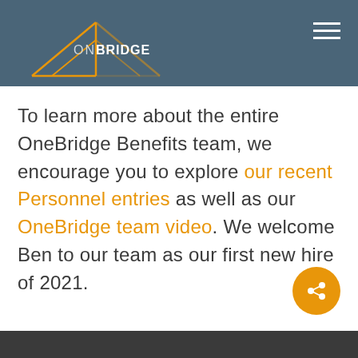ONE BRIDGE
To learn more about the entire OneBridge Benefits team, we encourage you to explore our recent Personnel entries as well as our OneBridge team video. We welcome Ben to our team as our first new hire of 2021.
[Figure (logo): OneBridge logo with orange bridge/arch graphic and hamburger menu icon]